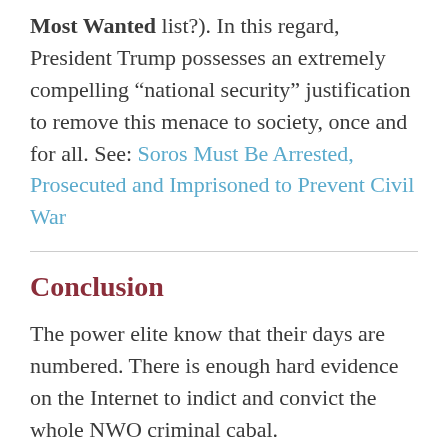Most Wanted list?).  In this regard, President Trump possesses an extremely compelling “national security” justification to remove this menace to society, once and for all. See: Soros Must Be Arrested, Prosecuted and Imprisoned to Prevent Civil War
Conclusion
The power elite know that their days are numbered.  There is enough hard evidence on the Internet to indict and convict the whole NWO criminal cabal.